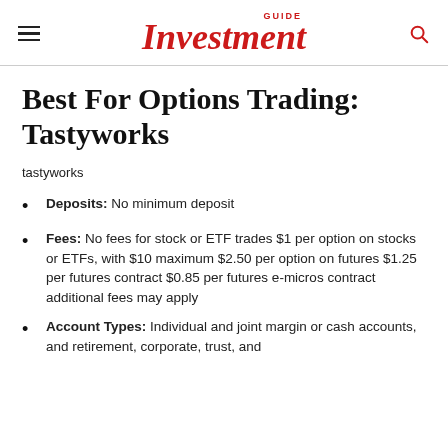GUIDE Investment
Best For Options Trading: Tastyworks
tastyworks
Deposits: No minimum deposit
Fees: No fees for stock or ETF trades $1 per option on stocks or ETFs, with $10 maximum $2.50 per option on futures $1.25 per futures contract $0.85 per futures e-micros contract additional fees may apply
Account Types: Individual and joint margin or cash accounts, and retirement, corporate, trust, and